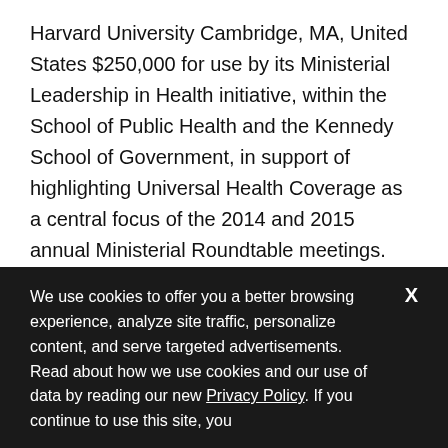Harvard University Cambridge, MA, United States $250,000 for use by its Ministerial Leadership in Health initiative, within the School of Public Health and the Kennedy School of Government, in support of highlighting Universal Health Coverage as a central focus of the 2014 and 2015 annual Ministerial Roundtable meetings.
Health Strategy and Policy Institute Hanoi, Vietnam $900,000 in support of a project to strengthen policy around and the practice of improving Universal Health Coverage.
We use cookies to offer you a better browsing experience, analyze site traffic, personalize content, and serve targeted advertisements. Read about how we use cookies and our use of data by reading our new Privacy Policy. If you continue to use this site, you